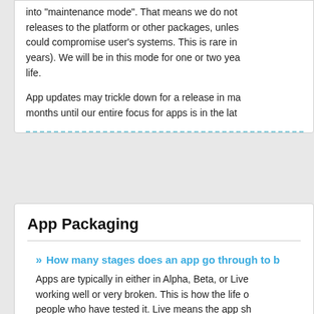into "maintenance mode". That means we do not releases to the platform or other packages, unless could compromise user's systems. This is rare in years). We will be in this mode for one or two years life.
App updates may trickle down for a release in ma months until our entire focus for apps is in the late
App Packaging
» How many stages does an app go through to b
Apps are typically in either in Alpha, Beta, or Live working well or very broken. This is how the life o people who have tested it. Live means the app sh for all platforms that it's live.